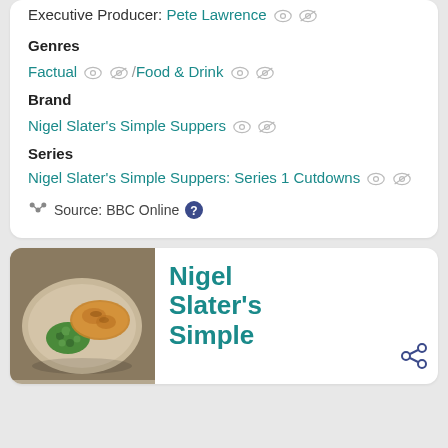Executive Producer: Pete Lawrence
Genres
Factual / Food & Drink
Brand
Nigel Slater's Simple Suppers
Series
Nigel Slater's Simple Suppers: Series 1 Cutdowns
Source: BBC Online
[Figure (photo): Photo of a cooked dish with breaded/fried food and green peas on a plate]
Nigel Slater's Simple